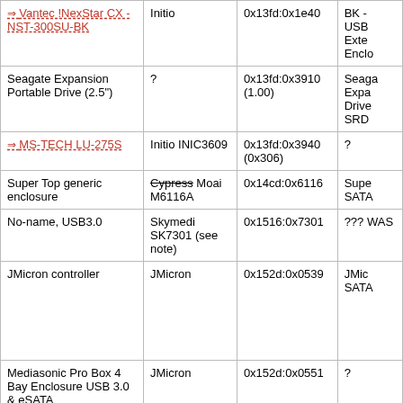| Device | Controller | USB ID | Notes |
| --- | --- | --- | --- |
| Vantec !NexStar CX - NST-300SU-BK | Initio | 0x13fd:0x1e40 | BK - USB Exte Enclo |
| Seagate Expansion Portable Drive (2.5") | ? | 0x13fd:0x3910 (1.00) | Seaga Expa Drive SRD |
| MS-TECH LU-275S | Initio INIC3609 | 0x13fd:0x3940 (0x306) | ? |
| Super Top generic enclosure | Cypress Moai M6116A | 0x14cd:0x6116 | Supe SATA |
| No-name, USB3.0 | Skymedi SK7301 (see note) | 0x1516:0x7301 | ??? WAS |
| JMicron controller | JMicron | 0x152d:0x0539 | JMic SATA |
| Mediasonic Pro Box 4 Bay Enclosure USB 3.0 & eSATA | JMicron | 0x152d:0x0551 | ? |